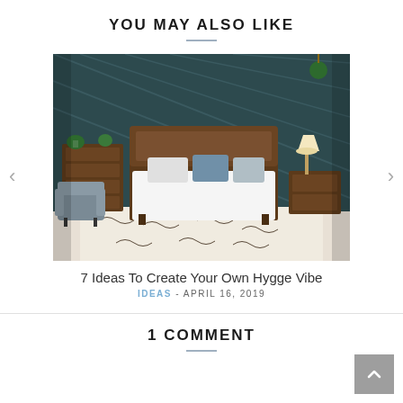YOU MAY ALSO LIKE
[Figure (photo): Bedroom interior photo showing a mid-century modern style bedroom with a dark teal paneled accent wall, a wood-framed bed with white bedding and blue pillows, a grey armchair, wood dresser, nightstand, lamp, and a black-and-white patterned rug]
7 Ideas To Create Your Own Hygge Vibe
IDEAS - APRIL 16, 2019
1 COMMENT